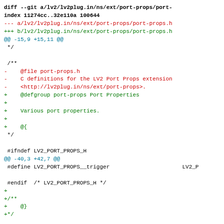diff --git a/lv2/lv2plug.in/ns/ext/port-props/port-
index 11274cc..32e110a 100644
--- a/lv2/lv2plug.in/ns/ext/port-props/port-props.h
+++ b/lv2/lv2plug.in/ns/ext/port-props/port-props.h
@@ -15,9 +15,11 @@
 */

 /**
-    @file port-props.h
-    C definitions for the LV2 Port Props extension
-    <http://lv2plug.in/ns/ext/port-props>.
+    @defgroup port-props Port Properties
+
+    Various port properties.
+
+    @{
 */

 #ifndef LV2_PORT_PROPS_H
@@ -40,3 +42,7 @@
 #define LV2_PORT_PROPS__trigger                      LV2_P

 #endif  /* LV2_PORT_PROPS_H */
+
+/**
+    @}
+*/

diff --git a/lv2/lv2plug.in/ns/ext/presets/lv2-pres